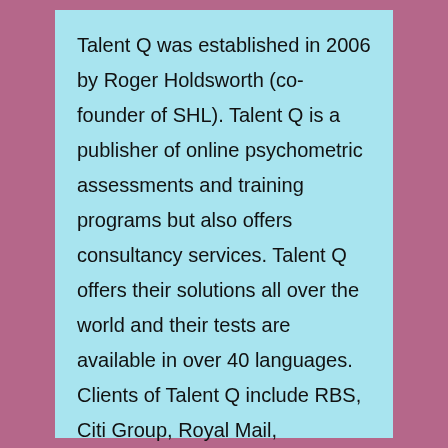Talent Q was established in 2006 by Roger Holdsworth (co-founder of SHL). Talent Q is a publisher of online psychometric assessments and training programs but also offers consultancy services. Talent Q offers their solutions all over the world and their tests are available in over 40 languages. Clients of Talent Q include RBS, Citi Group, Royal Mail, Volkswagen, Carlsberg, and BT. Talent Q Aptitude Tests Talent Q offers several online assessments and psychometric tests, which can be tailored to the needs of a client organization and a specific job role. Talent Q essentially has 2 different assessment suites. One is the